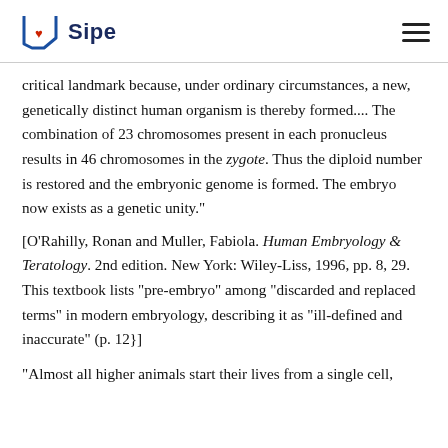Sipe logo and navigation
critical landmark because, under ordinary circumstances, a new, genetically distinct human organism is thereby formed.... The combination of 23 chromosomes present in each pronucleus results in 46 chromosomes in the zygote. Thus the diploid number is restored and the embryonic genome is formed. The embryo now exists as a genetic unity."
[O'Rahilly, Ronan and Muller, Fabiola. Human Embryology & Teratology. 2nd edition. New York: Wiley-Liss, 1996, pp. 8, 29. This textbook lists "pre-embryo" among "discarded and replaced terms" in modern embryology, describing it as "ill-defined and inaccurate" (p. 12}]
"Almost all higher animals start their lives from a single cell,